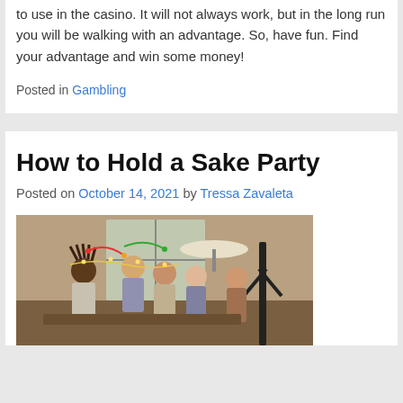to use in the casino. It will not always work, but in the long run you will be walking with an advantage. So, have fun. Find your advantage and win some money!
Posted in Gambling
How to Hold a Sake Party
Posted on October 14, 2021 by Tressa Zavaleta
[Figure (photo): Group of people at a party gathered around a table in a warmly lit room with a window and lamp in the background]